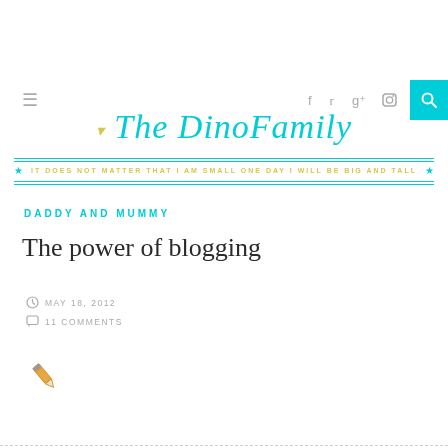≡  f  Twitter  g+  Instagram  🔍
The DinoFamily
IT DOES NOT MATTER THAT I AM SMALL ONE DAY I WILL BE BIG AND TALL
DADDY AND MUMMY
The power of blogging
MAY 18, 2012
11 COMMENTS